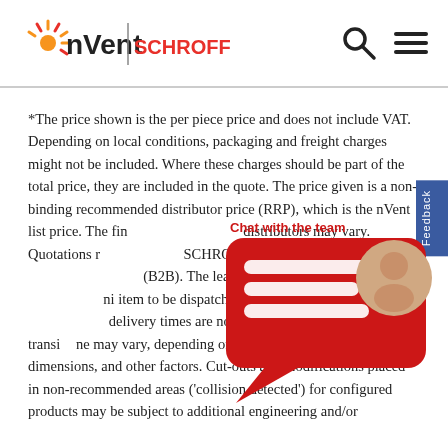nVent | SCHROFF
*The price shown is the per piece price and does not include VAT. Depending on local conditions, packaging and freight charges might not be included. Where these charges should be part of the total price, they are included in the quote. The price given is a non-binding recommended distributor price (RRP), which is the nVent list price. The final prices offered by distributors may vary. Quotations requested on SCHROFF.nVent.com are only valid for business customers (B2B). The lead time displayed above is the time for the item to be dispatched from an nVent Schroff facility. Final delivery times are not included in this estimate, as transit time may vary, depending on delivery address, parcel dimensions, and other factors. Cut-outs and modifications placed in non-recommended areas ('collision detected') for configured products may be subject to additional engineering and/or
[Figure (other): Chat with the team overlay widget showing a red speech bubble icon with a person avatar and the text 'Chat with the team']
Feedback